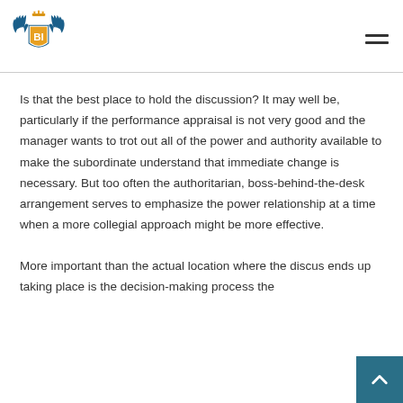[Figure (logo): BI shield crest logo with blue wings and gold crown, letters B and I on shield]
Is that the best place to hold the discussion? It may well be, particularly if the performance appraisal is not very good and the manager wants to trot out all of the power and authority available to make the subordinate understand that immediate change is necessary. But too often the authoritarian, boss-behind-the-desk arrangement serves to emphasize the power relationship at a time when a more collegial approach might be more effective.
More important than the actual location where the discus ends up taking place is the decision-making process the